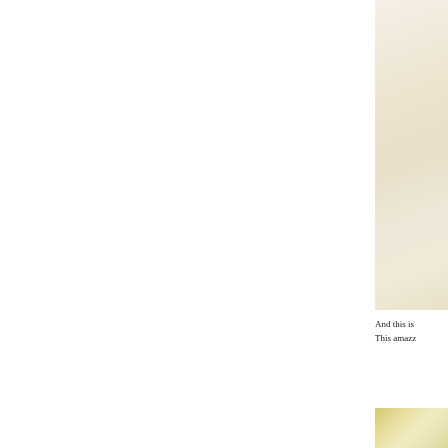[Figure (photo): Partial view of a beige/cream colored page or object with warm tones, cropped on the right side of the page, upper portion]
And this is
This amazz
[Figure (photo): Partial view of a yellowish/golden blurred image, cropped on the right side of the page, lower portion]